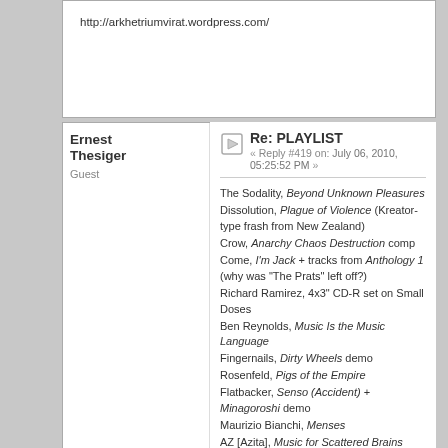http://arkhetriumvirat.wordpress.com/
Re: PLAYLIST
« Reply #419 on: July 06, 2010, 05:25:52 PM »
The Sodality, Beyond Unknown Pleasures
Dissolution, Plague of Violence (Kreator-type frash from New Zealand)
Crow, Anarchy Chaos Destruction comp
Come, I'm Jack + tracks from Anthology 1 (why was "The Prats" left off?)
Richard Ramirez, 4x3" CD-R set on Small Doses
Ben Reynolds, Music Is the Music Language
Fingernails, Dirty Wheels demo
Rosenfeld, Pigs of the Empire
Flatbacker, Senso (Accident) + Minagoroshi demo
Maurizio Bianchi, Menses
AZ [Azita], Music for Scattered Brains
Logged
Pages: 1 ... 22 23 24 25 26 27 [28] 29 30 31 32 33 34 ... 575   PRINT
« previous next »